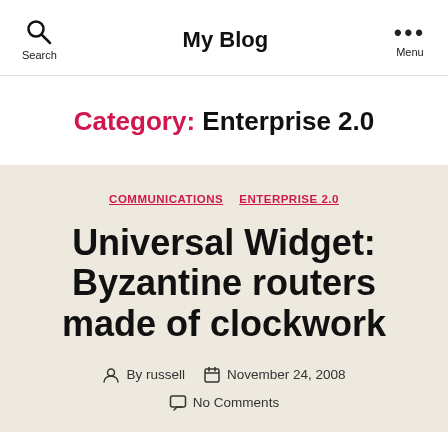My Blog
Category: Enterprise 2.0
COMMUNICATIONS  ENTERPRISE 2.0
Universal Widget: Byzantine routers made of clockwork
By russell  November 24, 2008
No Comments